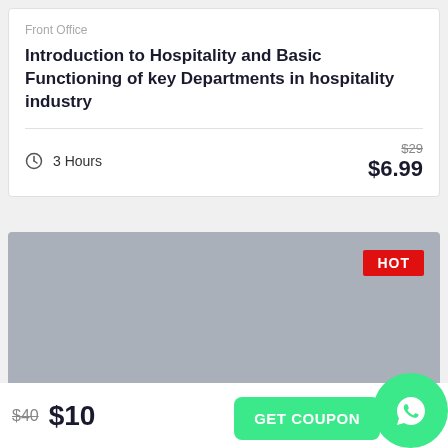Front Office
Introduction to Hospitality and Basic Functioning of key Departments in hospitality industry
3 Hours
$29  $6.99
[Figure (photo): Gray placeholder image with HOT badge in red at top right]
$40  $10
GET COUPON